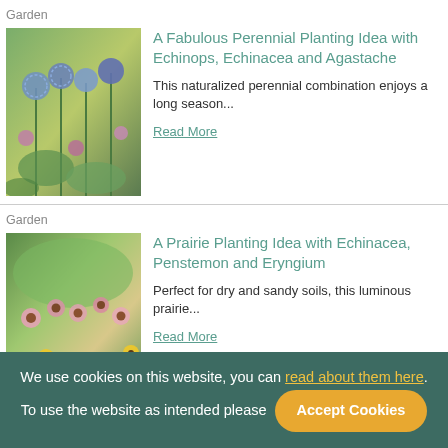Garden
A Fabulous Perennial Planting Idea with Echinops, Echinacea and Agastache
This naturalized perennial combination enjoys a long season...
Read More
[Figure (photo): Garden with blue globe thistle (Echinops), purple coneflowers (Echinacea), and other perennials in a naturalized planting]
Garden
A Prairie Planting Idea with Echinacea, Penstemon and Eryngium
Perfect for dry and sandy soils, this luminous prairie...
Read More
[Figure (photo): Prairie garden with Echinacea (coneflowers), yellow rudbeckia, and other prairie plants]
We use cookies on this website, you can read about them here. To use the website as intended please  Accept Cookies